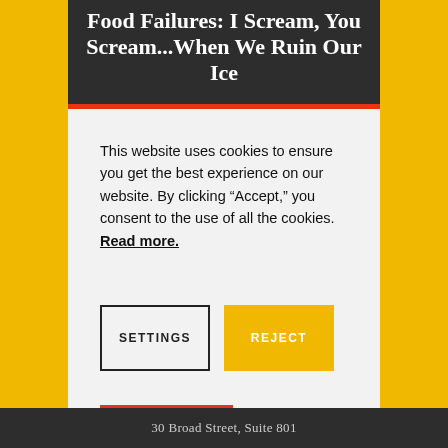Food Failures: I Scream, You Scream...When We Ruin Our Ice
This website uses cookies to ensure you get the best experience on our website. By clicking “Accept,” you consent to the use of all the cookies. Read more.
SETTINGS
REJECT
ACCEPT
30 Broad Street, Suite 801